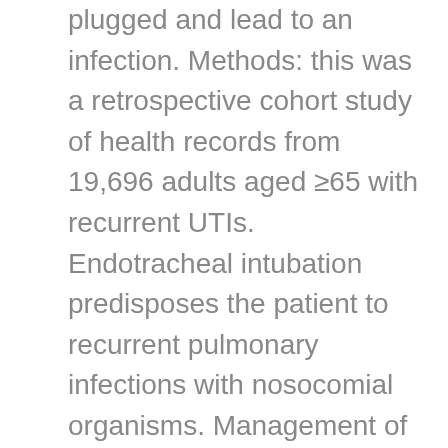plugged and lead to an infection. Methods: this was a retrospective cohort study of health records from 19,696 adults aged ≥65 with recurrent UTIs. Endotracheal intubation predisposes the patient to recurrent pulmonary infections with nosocomial organisms. Management of Recurrent Urinary Tract Infections in Adults Introduction This document provides guidance on the management of adult patients with recurrent lower urinary tract infections without a long term catheter in situ. One year post-transplantation, serum levels of HCV RNA are greater than pretransplant levels.50 However, the levels vary widely among individuals and fluctuate over time in the same individual. di Vicenza Medicina Generale, Milano. However, this therapy is not uniformly effective, and sustained viral response rates occur in only one third of patients. Our website uses cookies to enhance your experience. [Article in